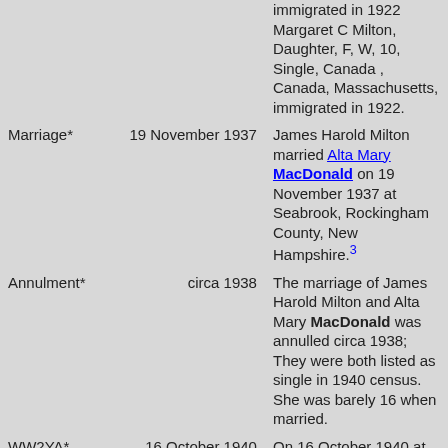| Event | Date | Description |
| --- | --- | --- |
|  |  | immigrated in 1922 Margaret C Milton, Daughter, F, W, 10, Single, Canada , Canada, Massachusetts, immigrated in 1922. |
| Marriage* | 19 November 1937 | James Harold Milton married Alta Mary MacDonald on 19 November 1937 at Seabrook, Rockingham County, New Hampshire.3 |
| Annulment* | circa 1938 | The marriage of James Harold Milton and Alta Mary MacDonald was annulled circa 1938; They were both listed as single in 1940 census. She was barely 16 when married. |
| WW2YA* | 16 October 1940 | On 16 October 1940 at 431 Boston Street, Lynn, Essex County, |